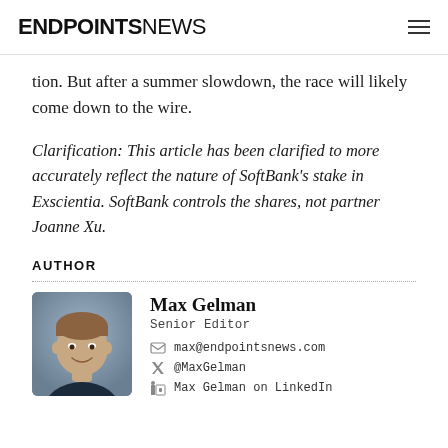ENDPOINTS NEWS
tion. But after a summer slowdown, the race will likely come down to the wire.
Clarification: This article has been clarified to more accurately reflect the nature of SoftBank's stake in Exscientia. SoftBank controls the shares, not partner Joanne Xu.
AUTHOR
[Figure (photo): Headshot photo of Max Gelman, a young man smiling, wearing a dark navy shirt, against a grey background]
Max Gelman
Senior Editor
max@endpointsnews.com
@MaxGelman
Max Gelman on LinkedIn